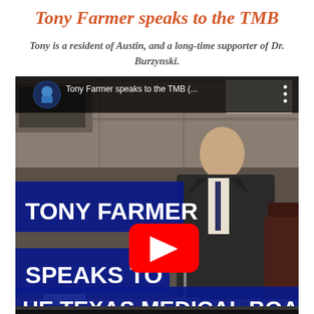Tony Farmer speaks to the TMB
Tony is a resident of Austin, and a long-time supporter of Dr. Burzynski.
[Figure (screenshot): YouTube video thumbnail showing Tony Farmer speaking at the Texas Medical Board hearing. The video title reads 'Tony Farmer speaks to the TMB (...'. Overlaid text banners read 'TONY FARMER', 'SPEAKS TO', 'THE TEXAS MEDICAL BOARD'. A YouTube play button is centered on the image.]